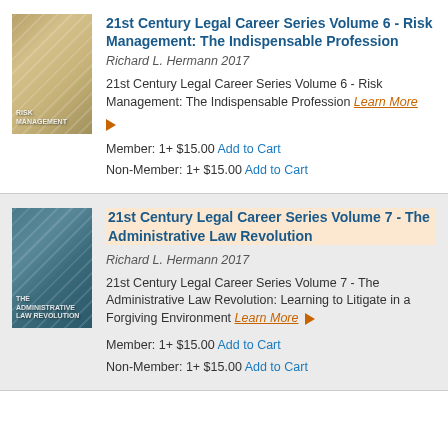21st Century Legal Career Series Volume 6 - Risk Management: The Indispensable Profession
Richard L. Hermann 2017
21st Century Legal Career Series Volume 6 - Risk Management: The Indispensable Profession Learn More ▶
Member: 1+ $15.00 Add to Cart
Non-Member: 1+ $15.00 Add to Cart
21st Century Legal Career Series Volume 7 - The Administrative Law Revolution
Richard L. Hermann 2017
21st Century Legal Career Series Volume 7 - The Administrative Law Revolution: Learning to Litigate in a Forgiving Environment Learn More ▶
Member: 1+ $15.00 Add to Cart
Non-Member: 1+ $15.00 Add to Cart